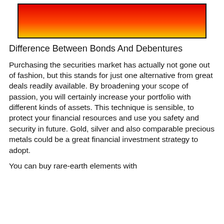[Figure (other): Rectangular banner with gradient from red at top to orange to yellow at bottom, with a thin black border.]
Difference Between Bonds And Debentures
Purchasing the securities market has actually not gone out of fashion, but this stands for just one alternative from great deals readily available. By broadening your scope of passion, you will certainly increase your portfolio with different kinds of assets. This technique is sensible, to protect your financial resources and use you safety and security in future. Gold, silver and also comparable precious metals could be a great financial investment strategy to adopt.
You can buy rare-earth elements with